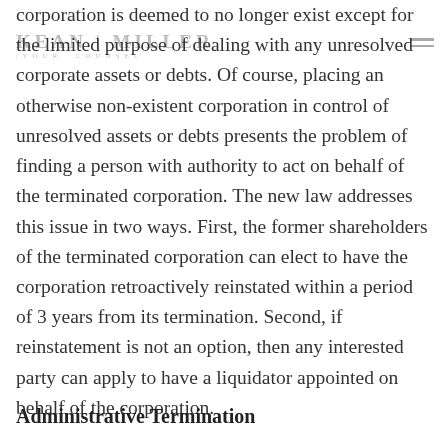KEAN MILLER | YOUR COUNSEL
corporation is deemed to no longer exist except for the limited purpose of dealing with any unresolved corporate assets or debts. Of course, placing an otherwise non-existent corporation in control of unresolved assets or debts presents the problem of finding a person with authority to act on behalf of the terminated corporation. The new law addresses this issue in two ways. First, the former shareholders of the terminated corporation can elect to have the corporation retroactively reinstated within a period of 3 years from its termination. Second, if reinstatement is not an option, then any interested party can apply to have a liquidator appointed on behalf of the corporation.
Administrative Termination